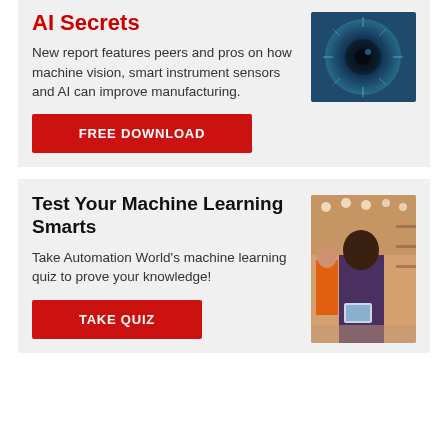AI Secrets
New report features peers and pros on how machine vision, smart instrument sensors and AI can improve manufacturing.
[Figure (photo): Close-up abstract blue lens or eye-like image]
FREE DOWNLOAD
Test Your Machine Learning Smarts
Take Automation World's machine learning quiz to prove your knowledge!
[Figure (photo): Person in warehouse holding a tablet, wearing dark clothing, with another person in orange vest in background]
TAKE QUIZ